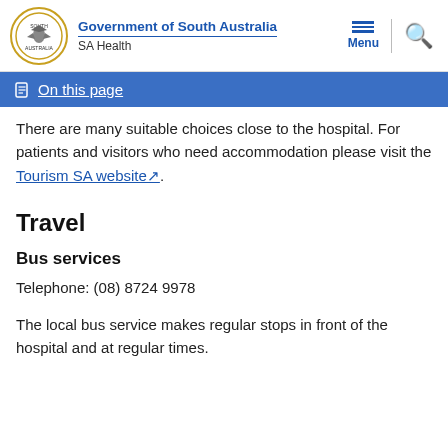Government of South Australia / SA Health
On this page
There are many suitable choices close to the hospital. For patients and visitors who need accommodation please visit the Tourism SA website.
Travel
Bus services
Telephone: (08) 8724 9978
The local bus service makes regular stops in front of the hospital and at regular times.